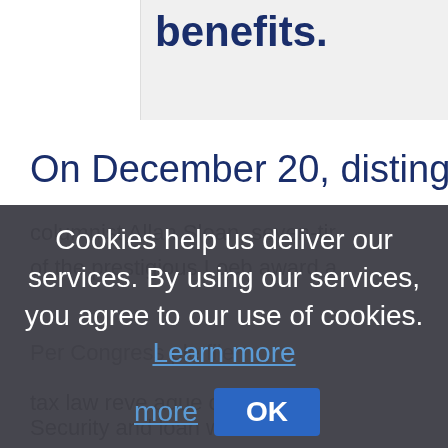benefits.
On December 20, distinguished
columnist Allan Sloan, seven-tir of the prestigious Loeb award a
Cookies help us deliver our services. By using our services, you agree to our use of cookies. Learn more
OK
tax law reve aique on the Security and loan wrote